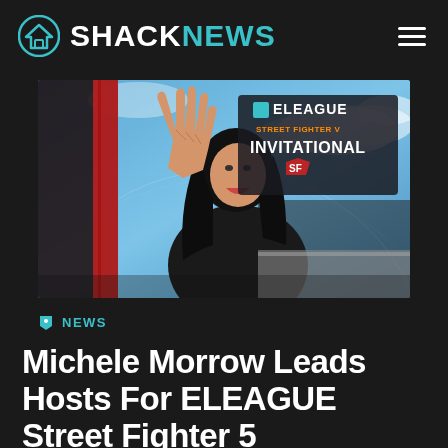SHACKNEWS
[Figure (photo): Woman in black outfit sitting and waving with hand raised, smiling broadly, in front of an ELEAGUE Street Fighter V Invitational backdrop/screen in a studio setting]
NEWS
Michele Morrow Leads Hosts For ELEAGUE Street Fighter 5 Invitational 2018